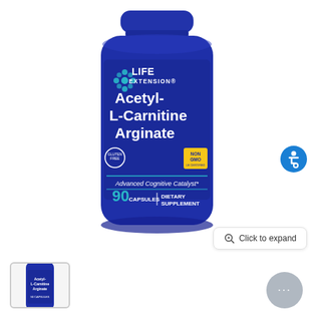[Figure (photo): Life Extension Acetyl-L-Carnitine Arginate dietary supplement bottle, 90 capsules, Advanced Cognitive Catalyst, Non GMO, blue bottle with white label text]
[Figure (photo): Small thumbnail of the same Life Extension Acetyl-L-Carnitine Arginate bottle]